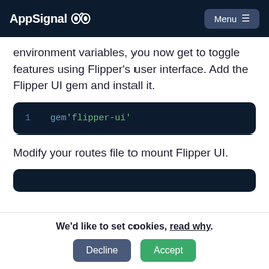AppSignal  Menu
environment variables, you now get to toggle features using Flipper's user interface. Add the Flipper UI gem and install it.
1    gem 'flipper-ui'
Modify your routes file to mount Flipper UI.
We'd like to set cookies, read why.
Decline  Accept